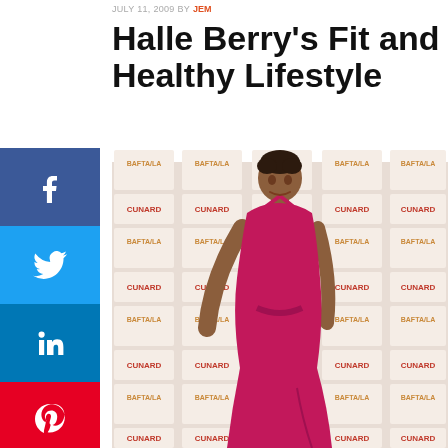JULY 11, 2009 BY JEM
Halle Berry's Fit and Healthy Lifestyle
[Figure (photo): Halle Berry in a magenta/pink halter dress posing on a BAFTA/LA and Cunard branded red carpet backdrop]
[Figure (infographic): Social media sharing sidebar with Facebook (blue), Twitter (light blue), LinkedIn (blue), Pinterest (red), Reddit (orange), and Mix (white/orange) buttons]